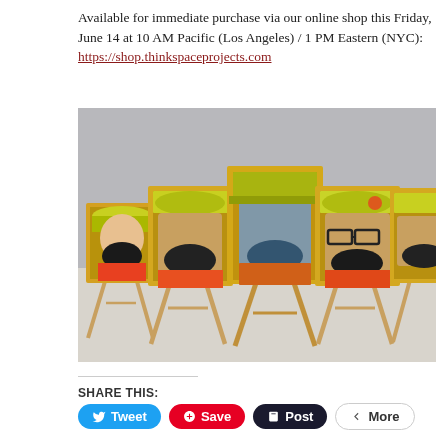Available for immediate purchase via our online shop this Friday, June 14 at 10 AM Pacific (Los Angeles) / 1 PM Eastern (NYC): https://shop.thinkspaceprojects.com
[Figure (photo): Photo of five small pop-art style portrait paintings on miniature wooden easels, each showing a bearded man wearing a yellow/green cap, rendered in bold graphic comic-book style with gold, black, yellow, and orange tones.]
SHARE THIS:
Tweet
Save
Post
More